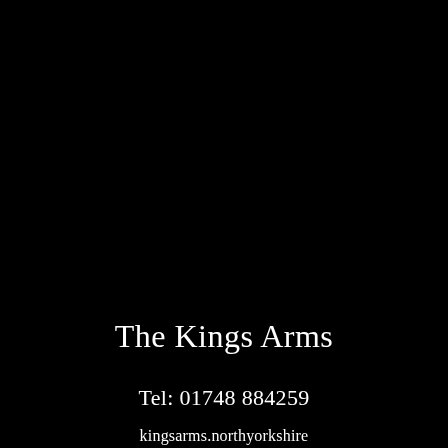The Kings Arms
Tel: 01748 884259
kingsarms.northyorkshire